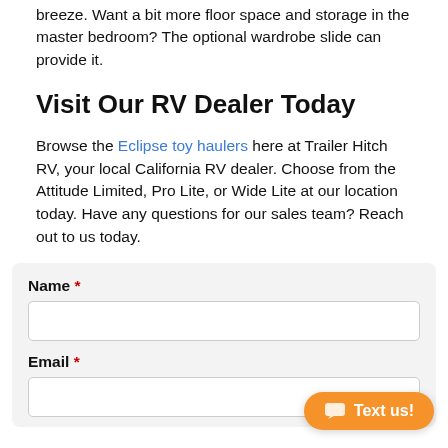breeze. Want a bit more floor space and storage in the master bedroom? The optional wardrobe slide can provide it.
Visit Our RV Dealer Today
Browse the Eclipse toy haulers here at Trailer Hitch RV, your local California RV dealer. Choose from the Attitude Limited, Pro Lite, or Wide Lite at our location today. Have any questions for our sales team? Reach out to us today.
Name *
Email *
Text us!